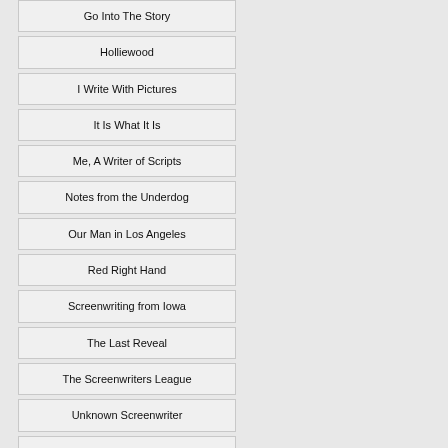Go Into The Story
Holliewood
I Write With Pictures
It Is What It Is
Me, A Writer of Scripts
Notes from the Underdog
Our Man in Los Angeles
Red Right Hand
Screenwriting from Iowa
The Last Reveal
The Screenwriters League
Unknown Screenwriter
Writer Joshua James
Events
Scottsdale Screenwriting